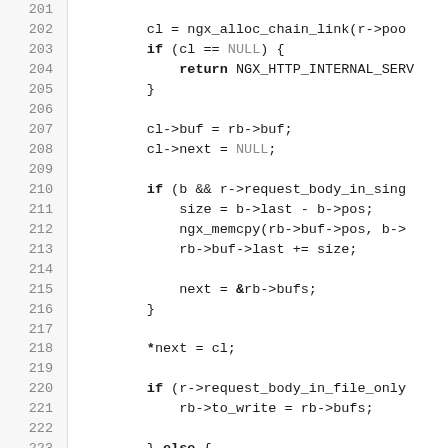[Figure (screenshot): Source code listing in monospace font with line numbers 201-230, showing C code for nginx HTTP request body handling. Lines include allocating chain links, checking for NULL, setting buffer pointers, handling single buffer and file-only modes, and returning from functions.]